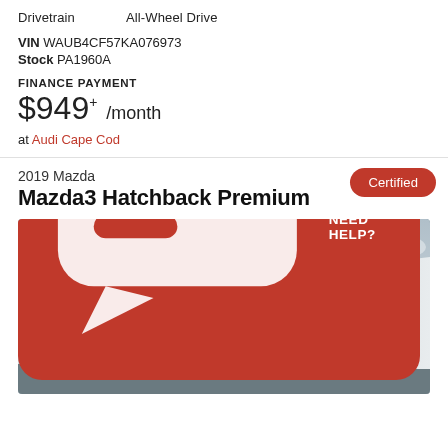Drivetrain   All-Wheel Drive
VIN WAUB4CF57KA076973
Stock PA1960A
FINANCE PAYMENT
$949+ /month
at Audi Cape Cod
2019 Mazda
Mazda3 Hatchback Premium
[Figure (photo): Exterior photo of a Mazda dealership building with dark facade, large windows, Mazda logo, and sign reading CAPE COD. A 'NEED HELP?' chat button overlays the bottom right.]